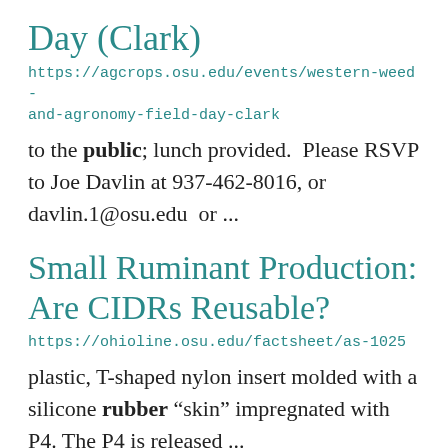Day (Clark)
https://agcrops.osu.edu/events/western-weed-and-agronomy-field-day-clark
to the public; lunch provided.  Please RSVP to Joe Davlin at 937-462-8016, or davlin.1@osu.edu  or ...
Small Ruminant Production: Are CIDRs Reusable?
https://ohioline.osu.edu/factsheet/as-1025
plastic, T-shaped nylon insert molded with a silicone rubber “skin” impregnated with P4. The P4 is released ...
Provost Plant Economice...